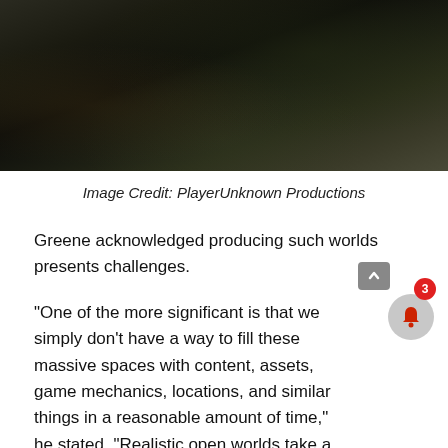[Figure (photo): Dark atmospheric landscape photo showing rocks, water, and trees in a moody, low-light environment]
Image Credit: PlayerUnknown Productions
Greene acknowledged producing such worlds presents challenges.
“One of the more significant is that we simply don’t have a way to fill these massive spaces with content, assets, game mechanics, locations, and similar things in a reasonable amount of time,” he stated. “Realistic open worlds take a great deal of time and effort to produce. And so this was the first issue that we chose to tackle.”